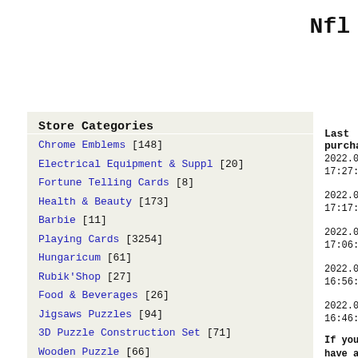Nfl
Store Categories
Chrome Emblems [148]
Electrical Equipment & Suppl [20]
Fortune Telling Cards [8]
Health & Beauty [173]
Barbie [11]
Playing Cards [3254]
Hungaricum [61]
Rubik'Shop [27]
Food & Beverages [26]
Jigsaws Puzzles [94]
3D Puzzle Construction Set [71]
Wooden Puzzle [66]
Wooden Name [889]
Last purchases
2022.08.21. 17:27:29
2022.08.21. 17:17:03
2022.08.21. 17:06:45
2022.08.21. 16:56:35
2022.08.21. 16:46:19
If you have any questions us: